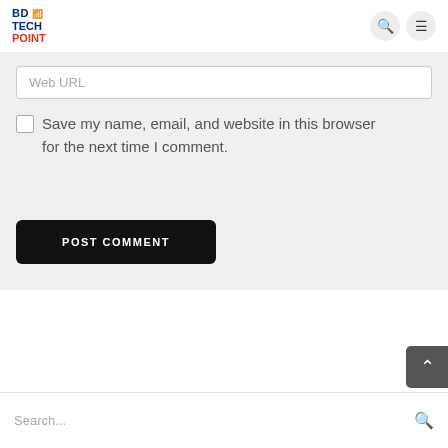BD TECH POINT (logo with navigation icons)
Web URL
Save my name, email, and website in this browser for the next time I comment.
POST COMMENT
Search...